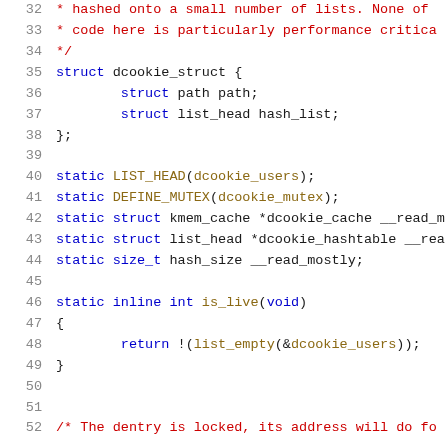[Figure (screenshot): Source code listing (C language) showing lines 32-52 with syntax highlighting. Line numbers in gray on the left, comments in red, keywords in blue, identifiers in dark olive/brown.]